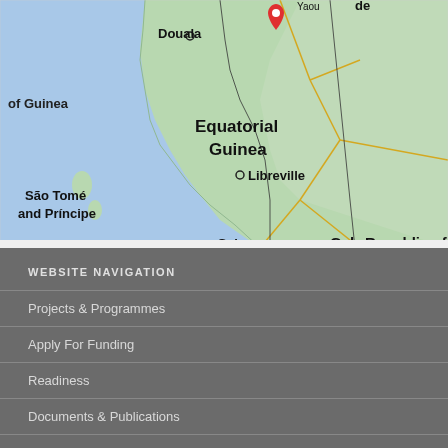[Figure (map): Map showing Equatorial Guinea region with labels for Gulf of Guinea, Douala, São Tomé and Príncipe, Equatorial Guinea, Libreville, Gabon, Republic of (Congo). A red location pin marker is visible near Yaoundé/Cameroon border area.]
WEBSITE NAVIGATION
Projects & Programmes
Apply For Funding
Readiness
Documents & Publications
About